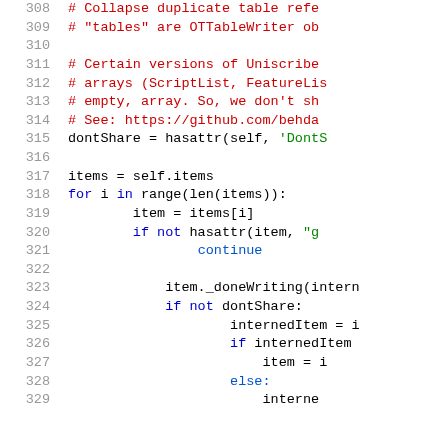[Figure (screenshot): Source code viewer showing Python code lines 308-329 with line numbers in gray on the left, comments in red, keywords in blue, string literals in green, and regular code in black monospace font.]